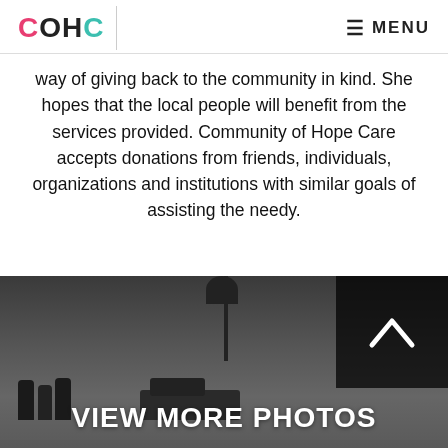COHC  MENU
way of giving back to the community in kind. She hopes that the local people will benefit from the services provided. Community of Hope Care accepts donations from friends, individuals, organizations and institutions with similar goals of assisting the needy.
[Figure (photo): Outdoor photo showing people standing near a vehicle with a palm tree in the background, with a dark overlay box in the top-right corner showing an upward chevron arrow, and text 'VIEW MORE PHOTOS' overlaid at the bottom]